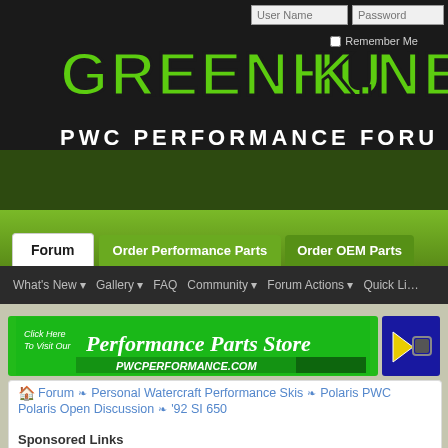[Figure (screenshot): Greenhulk.net PWC Performance Forum website header banner with green graffiti-style logo text on black background]
Forum | Order Performance Parts | Order OEM Parts
What's New | Gallery | FAQ | Community | Forum Actions | Quick Links
[Figure (screenshot): Breadcrumb navigation: Forum > Personal Watercraft Performance Skis > Polaris PWC > Polaris Open Discussion > '92 SI 650]
[Figure (photo): Green banner ad: Click Here To Visit Our Performance Parts Store pwcperformance.com]
Sponsored Links